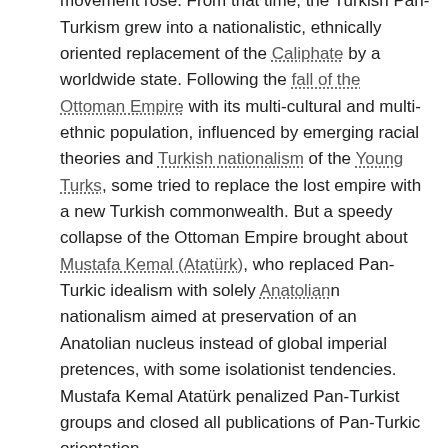to Istanbul, where a powerful Pan-Turkic movement rose. From that time, the Turkish Pan-Turkism grew into a nationalistic, ethnically oriented replacement of the Caliphate by a worldwide state. Following the fall of the Ottoman Empire with its multi-cultural and multi-ethnic population, influenced by emerging racial theories and Turkish nationalism of the Young Turks, some tried to replace the lost empire with a new Turkish commonwealth. But a speedy collapse of the Ottoman Empire brought about Mustafa Kemal (Atatürk), who replaced Pan-Turkic idealism with solely Anatolian nationalism aimed at preservation of an Anatolian nucleus instead of global imperial pretences, with some isolationist tendencies. Mustafa Kemal Atatürk penalized Pan-Turkist groups and closed all publications of Pan-Turkic orientation.